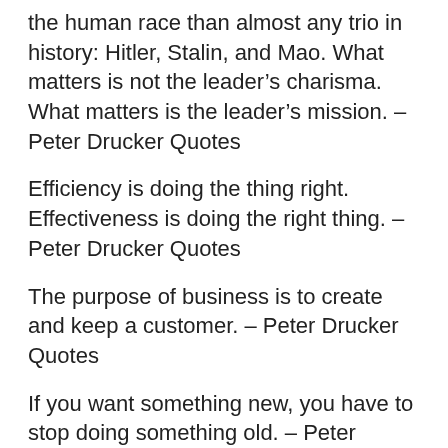the human race than almost any trio in history: Hitler, Stalin, and Mao. What matters is not the leader’s charisma. What matters is the leader’s mission. – Peter Drucker Quotes
Efficiency is doing the thing right. Effectiveness is doing the right thing. – Peter Drucker Quotes
The purpose of business is to create and keep a customer. – Peter Drucker Quotes
If you want something new, you have to stop doing something old. – Peter Drucker Quotes